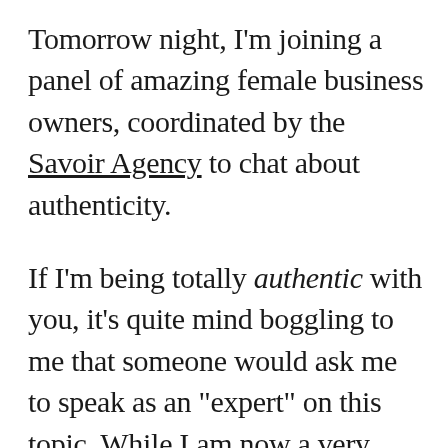Tomorrow night, I'm joining a panel of amazing female business owners, coordinated by the Savoir Agency to chat about authenticity.
If I'm being totally authentic with you, it's quite mind boggling to me that someone would ask me to speak as an "expert" on this topic. While I am now a very open book, share my story kind of gal—this was not my truth for the